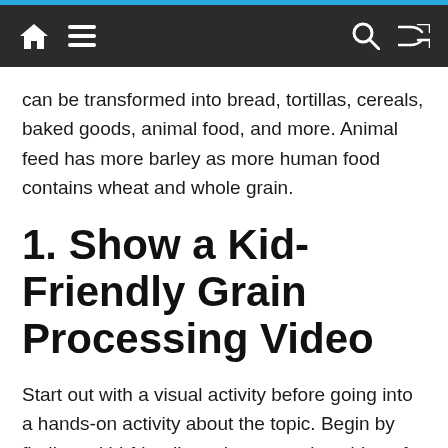[Navigation bar with home, menu, search, and shuffle icons]
can be transformed into bread, tortillas, cereals, baked goods, animal food, and more. Animal feed has more barley as more human food contains wheat and whole grain.
1. Show a Kid-Friendly Grain Processing Video
Start out with a visual activity before going into a hands-on activity about the topic. Begin by finding a kid-friendly grain processing video of your choice on YouTube that explains the basics of grains.
Make sure whatever videos you choose to show are